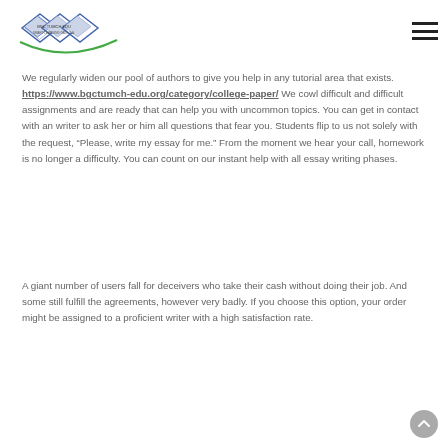[Logo: BGC Tumch Edu]
We regularly widen our pool of authors to give you help in any tutorial area that exists. https://www.bgctumch-edu.org/category/college-paper/ We cowl difficult and difficult assignments and are ready that can help you with uncommon topics. You can get in contact with an writer to ask her or him all questions that fear you. Students flip to us not solely with the request, “Please, write my essay for me.” From the moment we hear your call, homework is no longer a difficulty. You can count on our instant help with all essay writing phases.
A giant number of users fall for deceivers who take their cash without doing their job. And some still fulfill the agreements, however very badly. If you choose this option, your order might be assigned to a proficient writer with a high satisfaction rate.